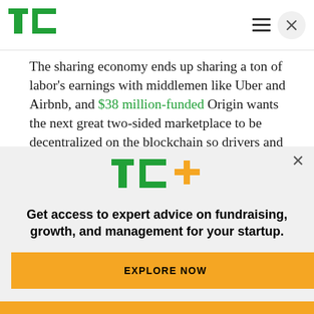TechCrunch header with logo, hamburger menu, and close button
The sharing economy ends up sharing a ton of labor's earnings with middlemen like Uber and Airbnb, and $38 million-funded Origin wants the next great two-sided marketplace to be decentralized on the blockchain so drivers and riders or hosts and guests can connect directly and avoid paying steep fees that can range up to 20
[Figure (logo): TechCrunch TC+ logo with green TC and yellow plus sign]
Get access to expert advice on fundraising, growth, and management for your startup.
EXPLORE NOW